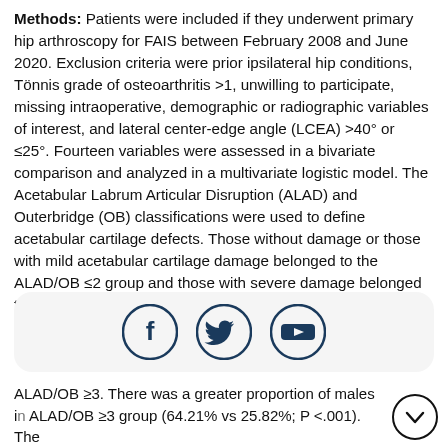Methods: Patients were included if they underwent primary hip arthroscopy for FAIS between February 2008 and June 2020. Exclusion criteria were prior ipsilateral hip conditions, Tönnis grade of osteoarthritis >1, unwilling to participate, missing intraoperative, demographic or radiographic variables of interest, and lateral center-edge angle (LCEA) >40° or ≤25°. Fourteen variables were assessed in a bivariate comparison and analyzed in a multivariate logistic model. The Acetabular Labrum Articular Disruption (ALAD) and Outerbridge (OB) classifications were used to define acetabular cartilage defects. Those without damage or those with mild acetabular cartilage damage belonged to the ALAD/OB ≤2 group and those with severe damage belonged to the ALAD/OB ≥ 3 group.
[Figure (infographic): Social media share bar with Facebook, Twitter/X, and YouTube icons in dark blue circles on a light gray rounded rectangle background.]
ALAD/OB ≥3. There was a greater proportion of males in the ALAD/OB ≥3 group (64.21% vs 25.82%; P <.001). The